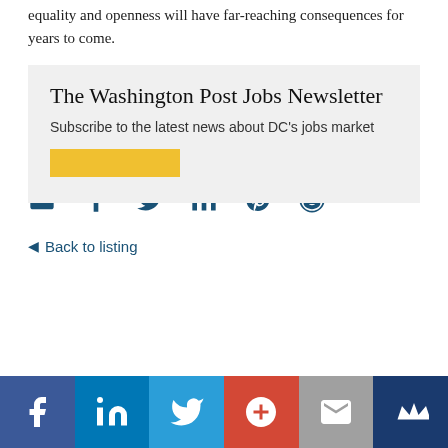equality and openness will have far-reaching consequences for years to come.
It's no secret 2018 has been a time of change, and as we adjust and readjust to cultural shifts, the job market follows suit. We're halfway through, and 2018 has already proven it's not slowing down.
[Figure (infographic): Social share icons: email, Facebook, Twitter, LinkedIn, Pinterest, Reddit — all in blue]
◀ Back to listing
The Washington Post Jobs Newsletter
Subscribe to the latest news about DC's jobs market
[Figure (infographic): Bottom social share bar with icons: Facebook (dark blue), LinkedIn (blue), Twitter (light blue), Google+ (red), Email (grey), King (dark navy)]